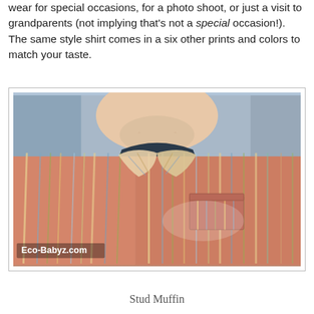wear for special occasions, for a photo shoot, or just a visit to grandparents (not implying that's not a special occasion!). The same style shirt comes in a six other prints and colors to match your taste.
[Figure (photo): Close-up photo of a baby or toddler wearing a colorful striped button-up shirt with a collar and chest pocket. The shirt features vertical stripes in orange, red, blue, green, and cream tones. The child's chin and lower face are visible at the top of the image. A watermark reading 'Eco-Babyz.com' appears in the lower left corner.]
Stud Muffin